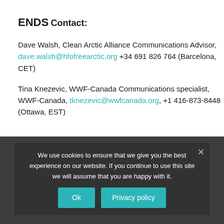ENDS
Contact:
Dave Walsh, Clean Arctic Alliance Communications Advisor, dave.walsh@hfofreearctic.org +34 691 826 764 (Barcelona, CET)
Tina Knezevic, WWF-Canada Communications specialist, WWF-Canada, tknezevic@wwfcanada.org, +1 416-873-8448 (Ottawa, EST)
We use cookies to ensure that we give you the best experience on our website. If you continue to use this site we will assume that you are happy with it. [Ok] [Privacy policy]
[1] 18 February 2020: The Government of Canada supports a global ban on heavy fuel … (Press Release)